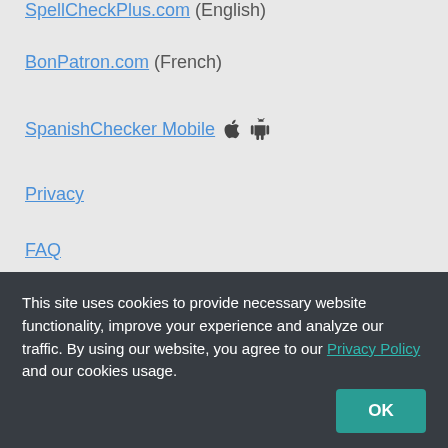SpellCheckPlus.com (English)
BonPatron.com (French)
SpanishChecker Mobile
Privacy
FAQ
Community
Facebook
This site uses cookies to provide necessary website functionality, improve your experience and analyze our traffic. By using our website, you agree to our Privacy Policy and our cookies usage.